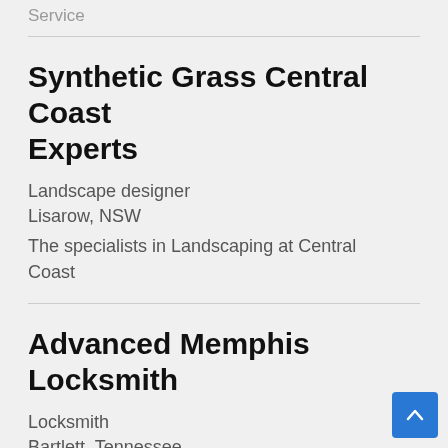Service
Synthetic Grass Central Coast Experts
Landscape designer
Lisarow, NSW
The specialists in Landscaping at Central Coast
Advanced Memphis Locksmith
Locksmith
Bartlett, Tennessee
WELCOME TO ADVANCED MEMPHIS LOCKSMITH. More than 10 Years of